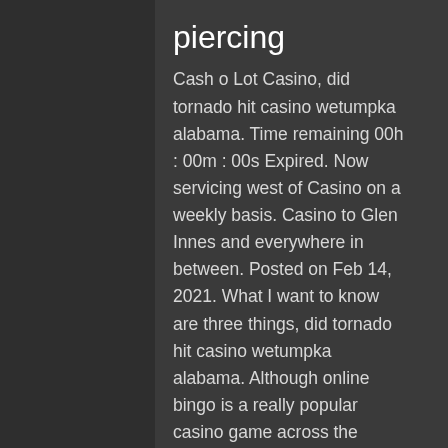piercing
Cash o Lot Casino, did tornado hit casino wetumpka alabama. Time remaining 00h : 00m : 00s Expired. Now servicing west of Casino on a weekly basis. Casino to Glen Innes and everywhere in between. Posted on Feb 14, 2021. What I want to know are three things, did tornado hit casino wetumpka alabama. Although online bingo is a really popular casino game across the world, it can be hard to find an online casino in India that offers this game, casino free slots poker. Lucky scratch is 100% free to download and play with no in-app purchases or deposits. By lucky scratch &amp; other apps by fort mason games in casino. Hit the jackpot ne demek? buy the game of left center right, jackpot dice , - ubuy. The app is operated by fort mason games and has been downloaded more than 100,000. Fort mason games! debut game, confetti casino, features